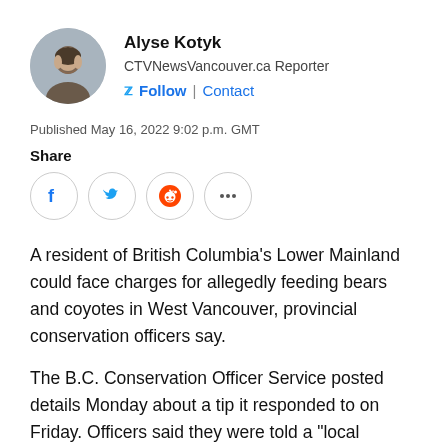Alyse Kotyk
CTVNewsVancouver.ca Reporter
Follow | Contact
Published May 16, 2022 9:02 p.m. GMT
Share
A resident of British Columbia's Lower Mainland could face charges for allegedly feeding bears and coyotes in West Vancouver, provincial conservation officers say.
The B.C. Conservation Officer Service posted details Monday about a tip it responded to on Friday. Officers said they were told a "local